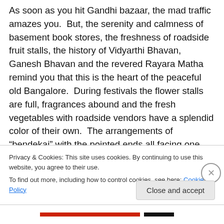As soon as you hit Gandhi bazaar, the mad traffic amazes you.  But, the serenity and calmness of basement book stores, the freshness of roadside fruit stalls, the history of Vidyarthi Bhavan, Ganesh Bhavan and the revered Rayara Matha remind you that this is the heart of the peaceful old Bangalore.  During festivals the flower stalls are full, fragrances abound and the fresh vegetables with roadside vendors have a splendid color of their own.  The arrangements of “bendekai” with the pointed ends all facing one way, the  hills of apples each fruit delicately
Privacy & Cookies: This site uses cookies. By continuing to use this website, you agree to their use.
To find out more, including how to control cookies, see here: Cookie Policy
Close and accept